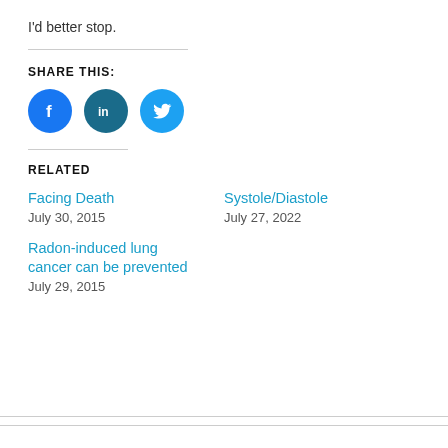I'd better stop.
SHARE THIS:
[Figure (other): Social share icons for Facebook, LinkedIn, and Twitter]
RELATED
Facing Death
July 30, 2015
Systole/Diastole
July 27, 2022
Radon-induced lung cancer can be prevented
July 29, 2015